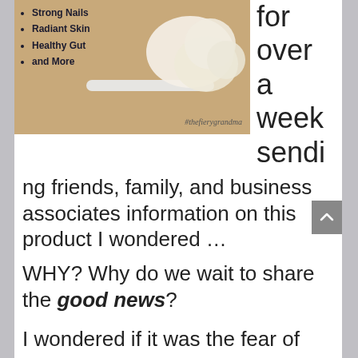[Figure (photo): Photo of collagen powder with measuring scoops on a wooden surface, with text overlay listing bullet points: Strong Nails, Radiant Skin, Healthy Gut, and More. Hashtag #thefierygrandma in cursive at bottom right.]
for over a week sendi
ng friends, family, and business associates information on this product I wondered …
WHY? Why do we wait to share the good news?
I wondered if it was the fear of rejection, being made fun of, or was it something